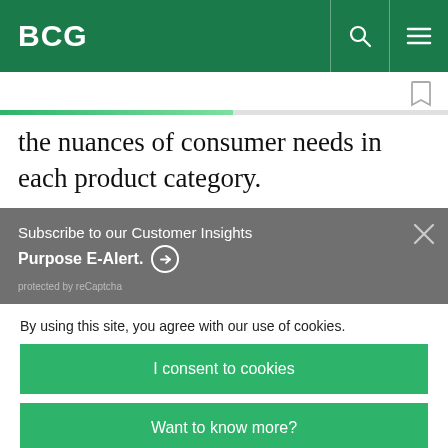BCG
the nuances of consumer needs in each product category.
Subscribe to our Customer Insights Purpose E-Alert. protected by reCaptcha
By using this site, you agree with our use of cookies.
I consent to cookies
Want to know more?
Read our Cookie Policy